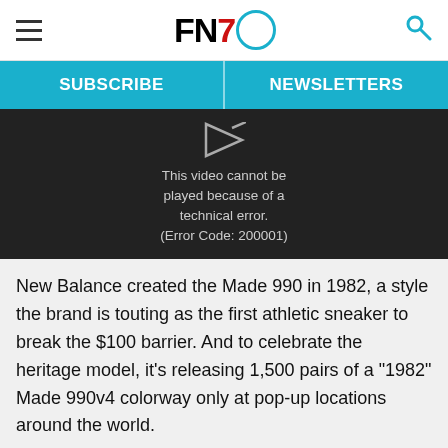FN7 — SUBSCRIBE | NEWSLETTERS
[Figure (screenshot): Video player showing error: This video cannot be played because of a technical error. (Error Code: 200001)]
New Balance created the Made 990 in 1982, a style the brand is touting as the first athletic sneaker to break the $100 barrier. And to celebrate the heritage model, it’s releasing 1,500 pairs of a “1982” Made 990v4 colorway only at pop-up locations around the world.
When it was first released, it was a technical running sneaker, and its sneaker data from with